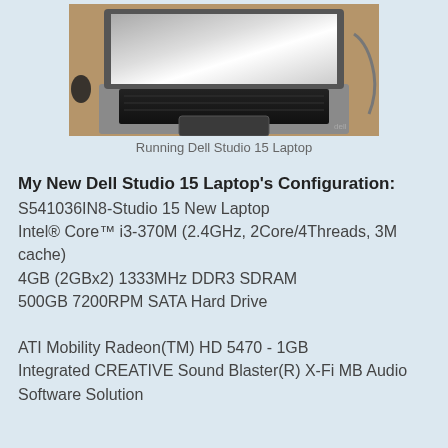[Figure (photo): Photo of a running Dell Studio 15 laptop on a desk, shown from a slightly elevated angle, with keyboard visible and screen glowing white. A mouse and cables are visible nearby.]
Running Dell Studio 15 Laptop
My New Dell Studio 15 Laptop's Configuration:
S541036IN8-Studio 15 New Laptop
Intel® Core™ i3-370M (2.4GHz, 2Core/4Threads, 3M cache)
4GB (2GBx2) 1333MHz DDR3 SDRAM
500GB 7200RPM SATA Hard Drive

ATI Mobility Radeon(TM) HD 5470 - 1GB
Integrated CREATIVE Sound Blaster(R) X-Fi MB Audio Software Solution